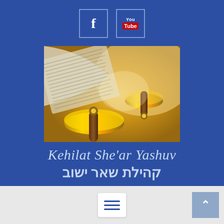[Figure (logo): Facebook icon in a square border on blue background]
[Figure (logo): YouTube icon in a square border on blue background]
[Figure (photo): Photo of a Torah scroll with gold rollers partially unrolled, showing Hebrew text on parchment, with warm golden lighting]
Kehilat She'ar Yashuv
קהילת שאר ישוב
[Figure (other): Hamburger menu button (three horizontal lines) on white rounded rectangle]
[Figure (other): Scroll-to-top button with upward caret arrow on gray-blue background]